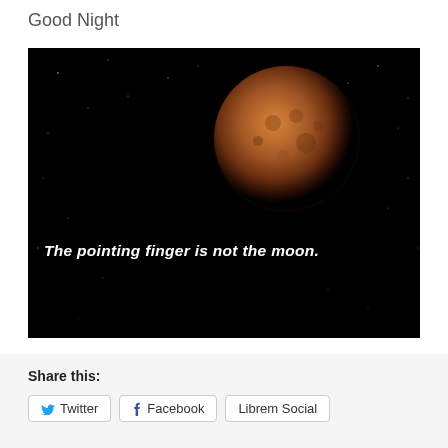Good Night
[Figure (photo): Dark black night sky photograph with a blood-red/orange moon (lunar eclipse) in upper center. White bold italic text overlaid reads: The pointing finger is not the moon.]
Share this:
Twitter  Facebook  Librem Social